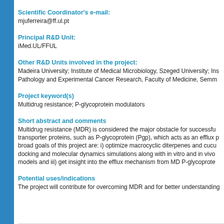Scientific Coordinator's e-mail:
mjuferreira@ff.ul.pt
Principal R&D Unit:
iMed.UL/FFUL
Other R&D Units involved in the project:
Madeira University; Institute of Medical Microbiology, Szeged University; Institute of Pathology and Experimental Cancer Research, Faculty of Medicine, Semm...
Project keyword(s)
Multidrug resistance; P-glycoprotein modulators
Short abstract and comments
Multidrug resistance (MDR) is considered the major obstacle for successful transporter proteins, such as P-glycoprotein (Pgp), which acts as an efflux p broad goals of this project are: i) optimize macrocyclic diterpenes and cucu docking and molecular dynamics simulations along with in vitro and in vivo models and iii) get insight into the efflux mechanism from MD P-glycoprote
Potential uses/indications
The project will contribute for overcoming MDR and for better understanding